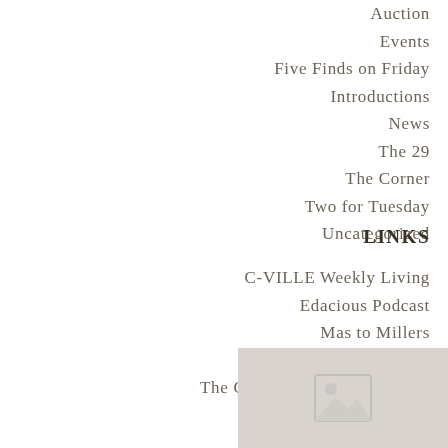Auction
Events
Five Finds on Friday
Introductions
News
The 29
The Corner
Two for Tuesday
Uncategorized
LINKS
C-VILLE Weekly Living
Edacious Podcast
Mas to Millers
Our Local Commons
The Charlottesville 29 on Face
[Figure (photo): Placeholder image thumbnail in bottom right corner, light grey with image icon]